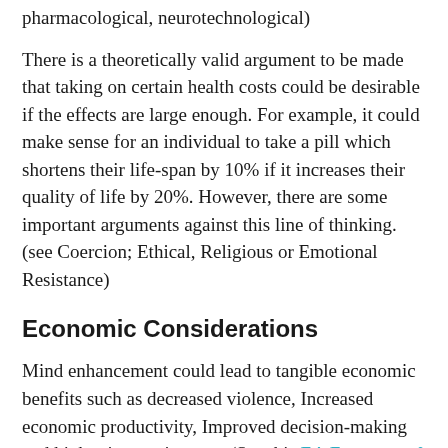pharmacological, neurotechnological)
There is a theoretically valid argument to be made that taking on certain health costs could be desirable if the effects are large enough. For example, it could make sense for an individual to take a pill which shortens their life-span by 10% if it increases their quality of life by 20%. However, there are some important arguments against this line of thinking. (see Coercion; Ethical, Religious or Emotional Resistance)
Economic Considerations
Mind enhancement could lead to tangible economic benefits such as decreased violence, Increased economic productivity, Improved decision-making and higher innovativeness. (See this EA Forum post° for more)